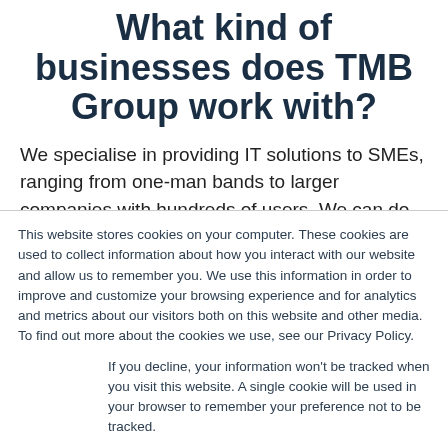What kind of businesses does TMB Group work with?
We specialise in providing IT solutions to SMEs, ranging from one-man bands to larger companies with hundreds of users. We can do this because our services are intrinsically designed to scale up as needed. That also means if your business grows (as
This website stores cookies on your computer. These cookies are used to collect information about how you interact with our website and allow us to remember you. We use this information in order to improve and customize your browsing experience and for analytics and metrics about our visitors both on this website and other media. To find out more about the cookies we use, see our Privacy Policy.
If you decline, your information won't be tracked when you visit this website. A single cookie will be used in your browser to remember your preference not to be tracked.